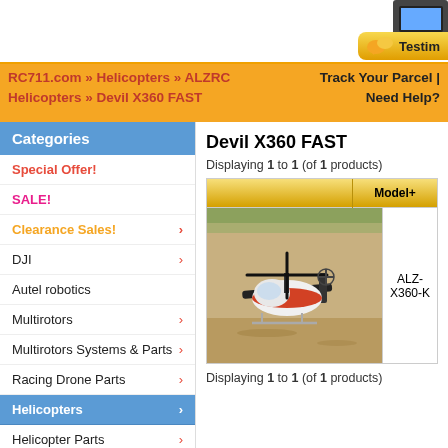[Figure (screenshot): Top bar with device image and Testimonials button]
RC711.com » Helicopters » ALZRC Helicopters » Devil X360 FAST    Track Your Parcel | Need Help?
Categories
Special Offer!
SALE!
Clearance Sales!
DJI
Autel robotics
Multirotors
Multirotors Systems & Parts
Racing Drone Parts
Helicopters
Helicopter Parts
Airplane Parts
Cars
Devil X360 FAST
Displaying 1 to 1 (of 1 products)
[Figure (photo): RC helicopter (Devil X360 FAST) on sandy ground, red white and black color scheme]
ALZ-X360-K
Displaying 1 to 1 (of 1 products)